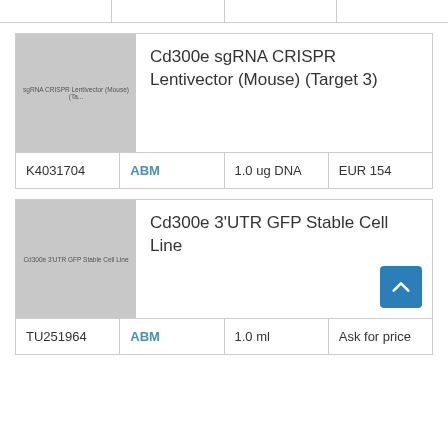|  |  |  |  |
[Figure (photo): Gray placeholder image for Cd300e sgRNA CRISPR Lentivector (Mouse) (Target 3) product]
Cd300e sgRNA CRISPR Lentivector (Mouse) (Target 3)
| K4031704 | ABM | 1.0 ug DNA | EUR 154 |
[Figure (photo): Gray placeholder image for Cd300e 3'UTR GFP Stable Cell Line product]
Cd300e 3'UTR GFP Stable Cell Line
| TU251964 | ABM | 1.0 ml | Ask for price |